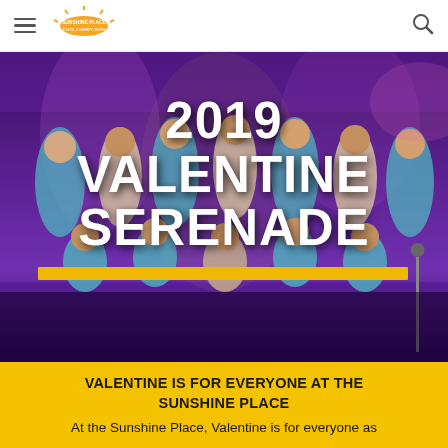Sunshine Place — navigation bar with hamburger menu, logo, and search icon
[Figure (photo): Group photo of performers in teal/blue traditional Filipino costumes on a stage with purple lighting, overlaid with large white text '2019 VALENTINE SERENADE' and a gold horizontal bar beneath the title]
2019 VALENTINE SERENADE
VALENTINE IS FOR EVERYONE AT THE SUNSHINE PLACE
At the Sunshine Place, Valentine is for everyone as